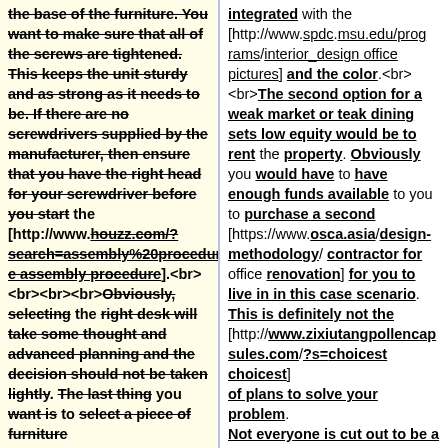the base of the furniture. You want to make sure that all of the screws are tightened. This keeps the unit sturdy and as strong as it needs to be. If there are no screwdrivers supplied by the manufacturer, then ensure that you have the right head for your screwdriver before you start the [http://www.houzz.com/?search=assembly%20procedure assembly procedure].<br><br><br>Obviously, selecting the right desk will take some thought and advanced planning and the decision should not be taken lightly. The last thing you want is to select a piece of furniture
integrated with the [http://www.spdc.msu.edu/programs/interior_design office pictures] and the color.<br><br>The second option for a weak market or teak dining sets low equity would be to rent the property. Obviously you would have to have enough funds available to you to purchase a second [https://www.osca.asia/design-methodology/ contractor for office renovation] for you to live in in this case scenario. This is definitely not the [http://www.zixiutangpollencapsules.com/?s=choicest choicest] of plans to solve your problem. Not everyone is cut out to be a